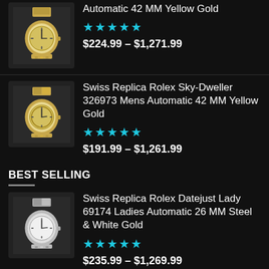[Figure (photo): Watch product thumbnail - Swiss Replica Rolex Sky-Dweller yellow gold, two-tone bracelet (partial, top item)]
Automatic 42 MM Yellow Gold
★★★★★
$224.99 – $1,271.99
[Figure (photo): Watch product thumbnail - Swiss Replica Rolex Sky-Dweller 326973 yellow gold dial]
Swiss Replica Rolex Sky-Dweller 326973 Mens Automatic 42 MM Yellow Gold
★★★★★
$191.99 – $1,261.99
BEST SELLING
[Figure (photo): Watch product thumbnail - Swiss Replica Rolex Datejust Lady 69174 steel and white gold]
Swiss Replica Rolex Datejust Lady 69174 Ladies Automatic 26 MM Steel & White Gold
★★★★★
$235.99 – $1,269.99
Swiss Replica Rolex Datejust 116233 2 Mens Automatic 36 MM Steel & Yellow Gold
★★★★★